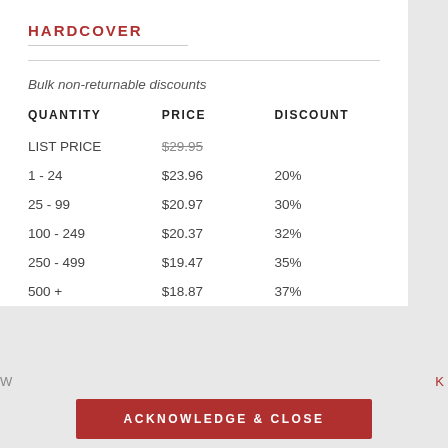HARDCOVER
Bulk non-returnable discounts
| QUANTITY | PRICE | DISCOUNT |
| --- | --- | --- |
| LIST PRICE | $29.95 |  |
| 1 - 24 | $23.96 | 20% |
| 25 - 99 | $20.97 | 30% |
| 100 - 249 | $20.37 | 32% |
| 250 - 499 | $19.47 | 35% |
| 500 + | $18.87 | 37% |
ACKNOWLEDGE & CLOSE